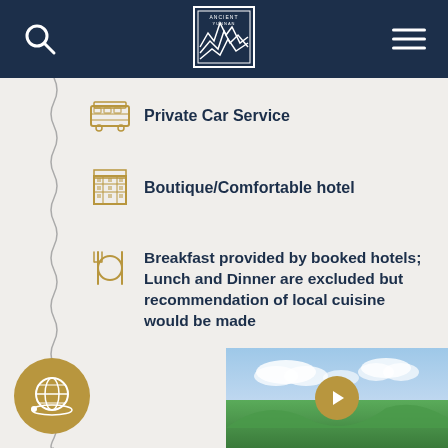[Figure (logo): Ancient Yunnan logo centered in dark navy header with search icon left and hamburger menu right]
Private Car Service
Boutique/Comfortable hotel
Breakfast provided by booked hotels; Lunch and Dinner are excluded but recommendation of local cuisine would be made
[Figure (photo): Green landscape with sky and clouds, with a gold play button overlay and gold globe icon at bottom left]